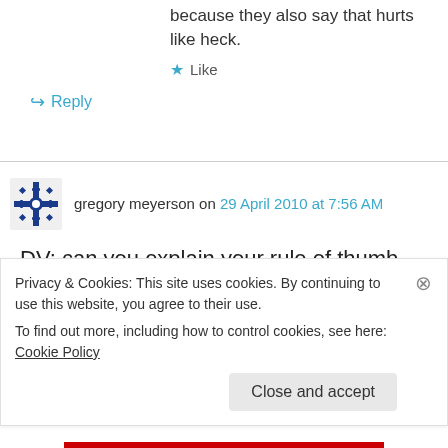because they also say that hurts like heck.
★ Like
↪ Reply
gregory meyerson on 29 April 2010 at 7:56 AM
DV: can you explain your rule of thumb above? I would like to quote you on the chernobyl study
Privacy & Cookies: This site uses cookies. By continuing to use this website, you agree to their use.
To find out more, including how to control cookies, see here: Cookie Policy
Close and accept